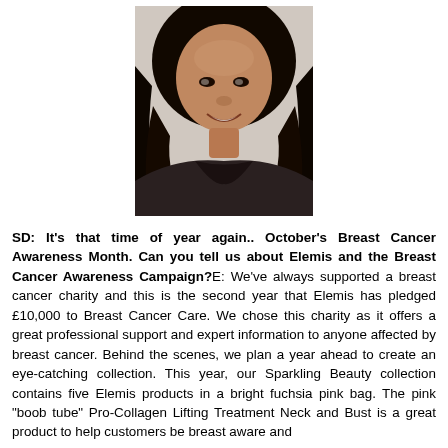[Figure (photo): Portrait photo of a smiling woman with long black hair, facing the camera, wearing a dark top.]
SD: It's that time of year again.. October's Breast Cancer Awareness Month. Can you tell us about Elemis and the Breast Cancer Awareness Campaign?E: We've always supported a breast cancer charity and this is the second year that Elemis has pledged £10,000 to Breast Cancer Care. We chose this charity as it offers a great professional support and expert information to anyone affected by breast cancer. Behind the scenes, we plan a year ahead to create an eye-catching collection. This year, our Sparkling Beauty collection contains five Elemis products in a bright fuchsia pink bag. The pink "boob tube" Pro-Collagen Lifting Treatment Neck and Bust is a great product to help customers be breast aware and